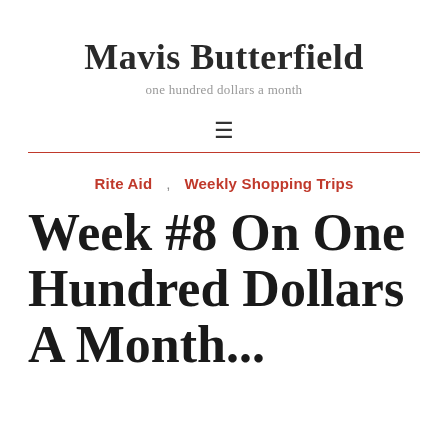Mavis Butterfield
one hundred dollars a month
[Figure (other): Hamburger menu icon (three horizontal lines)]
Rite Aid , Weekly Shopping Trips
Week #8 On One Hundred Dollars A Month...